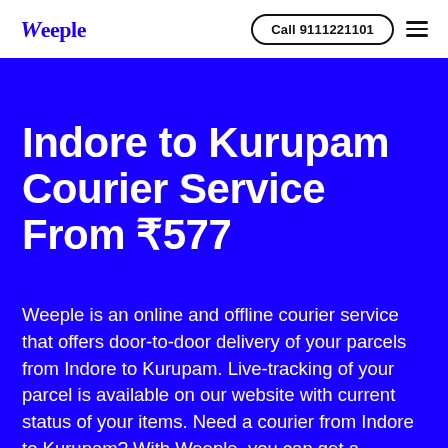Weeple | Call 9111221101
Indore to Kurupam Courier Service From ₹577
Weeple is an online and offline courier service that offers door-to-door delivery of your parcels from Indore to Kurupam. Live-tracking of your parcel is available on our website with current status of your items. Need a courier from Indore to Kurupam? With Weeple, you can get a reliable, quick and affordable courier service delivered at